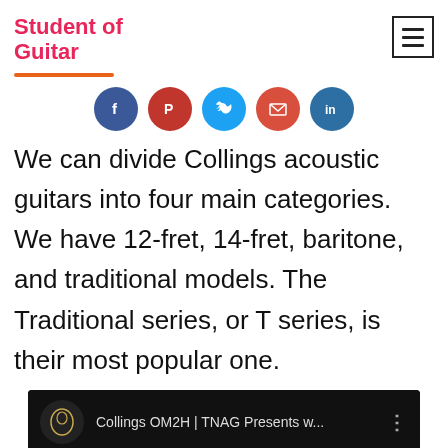Student of Guitar
[Figure (other): Social media share buttons: Facebook, Pinterest, Twitter, Email, LinkedIn]
We can divide Collings acoustic guitars into four main categories. We have 12-fret, 14-fret, baritone, and traditional models. The Traditional series, or T series, is their most popular one.
[Figure (screenshot): YouTube video thumbnail: Collings OM2H | TNAG Presents w...]